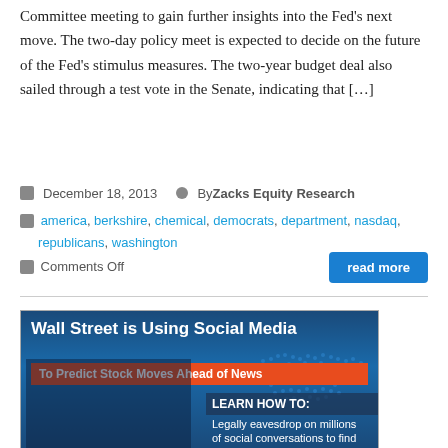Committee meeting to gain further insights into the Fed's next move. The two-day policy meet is expected to decide on the future of the Fed's stimulus measures. The two-year budget deal also sailed through a test vote in the Senate, indicating that [...]
December 18, 2013   By Zacks Equity Research
america, berkshire, chemical, democrats, department, nasdaq, republicans, washington
Comments Off
read more
[Figure (infographic): Infographic: 'Wall Street is Using Social Media To Predict Stock Moves Ahead of News'. Shows a laptop with financial data, a world map background, and text 'LEARN HOW TO: Legally eavesdrop on millions of social conversations to find']